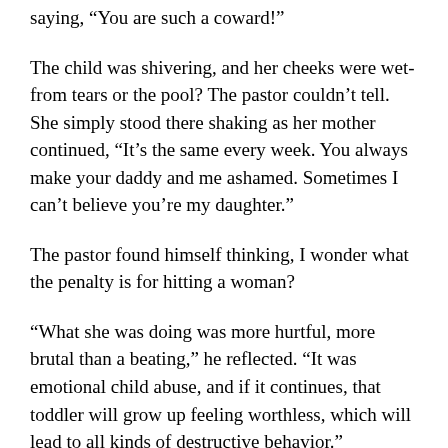saying, “You are such a coward!”
The child was shivering, and her cheeks were wet- from tears or the pool? The pastor couldn’t tell. She simply stood there shaking as her mother continued, “It’s the same every week. You always make your daddy and me ashamed. Sometimes I can’t believe you’re my daughter.”
The pastor found himself thinking, I wonder what the penalty is for hitting a woman?
“What she was doing was more hurtful, more brutal than a beating,” he reflected. “It was emotional child abuse, and if it continues, that toddler will grow up feeling worthless, which will lead to all kinds of destructive behavior.”